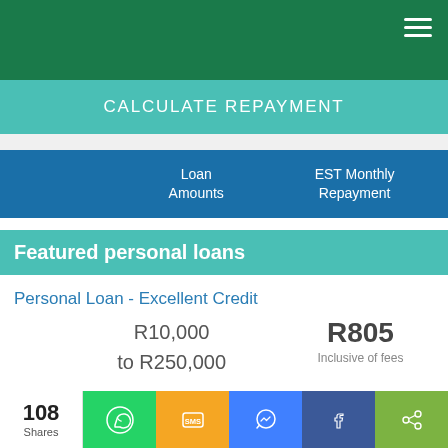CALCULATE REPAYMENT
| Loan Amounts | EST Monthly Repayment |
| --- | --- |
Featured personal loans
Personal Loan - Excellent Credit
R10,000 to R250,000
R805
Inclusive of fees
GO TO SITE
108 Shares